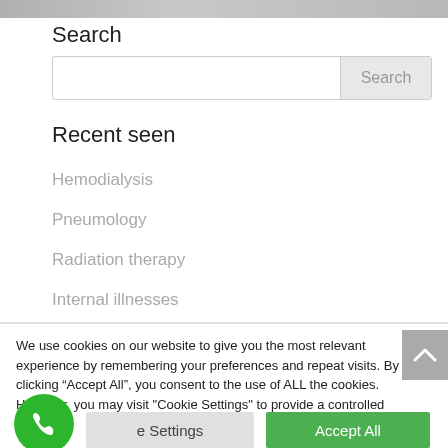[Figure (photo): Partial photo strip at top of page showing a person (medical context)]
Search
[Figure (screenshot): Search input box with a Search button on the right]
Recent seen
Hemodialysis
Pneumology
Radiation therapy
Internal illnesses
We use cookies on our website to give you the most relevant experience by remembering your preferences and repeat visits. By clicking “Accept All”, you consent to the use of ALL the cookies. However, you may visit "Cookie Settings" to provide a controlled consent.